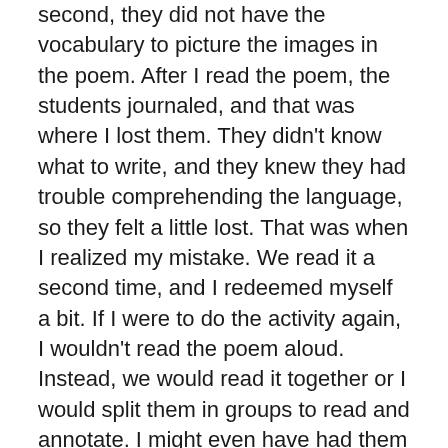second, they did not have the vocabulary to picture the images in the poem. After I read the poem, the students journaled, and that was where I lost them. They didn't know what to write, and they knew they had trouble comprehending the language, so they felt a little lost. That was when I realized my mistake. We read it a second time, and I redeemed myself a bit. If I were to do the activity again, I wouldn't read the poem aloud. Instead, we would read it together or I would split them in groups to read and annotate. I might even have had them read the poem for homework and define all the words they didn't understand as they read.
My thinking with the read-aloud is that the poem has such strong imagery that I thought listening would lead my students to a stronger understanding of the images used in the poem. I had always intended to read the poem twice, but the first time the students...